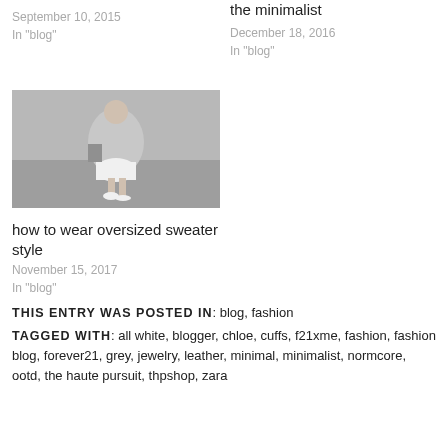September 10, 2015
In "blog"
the minimalist
December 18, 2016
In "blog"
[Figure (photo): A person wearing an oversized grey sweater and white skirt, standing outdoors on a grey sandy surface.]
how to wear oversized sweater style
November 15, 2017
In "blog"
THIS ENTRY WAS POSTED IN: blog, fashion
TAGGED WITH: all white, blogger, chloe, cuffs, f21xme, fashion, fashion blog, forever21, grey, jewelry, leather, minimal, minimalist, normcore, ootd, the haute pursuit, thpshop, zara